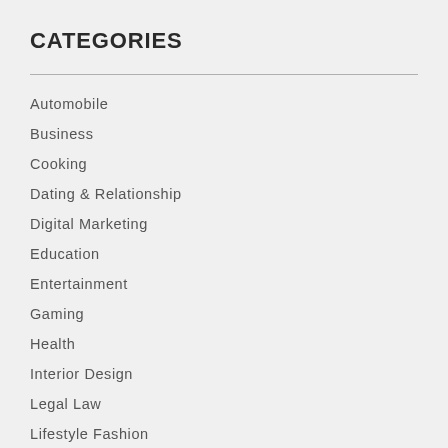CATEGORIES
Automobile
Business
Cooking
Dating & Relationship
Digital Marketing
Education
Entertainment
Gaming
Health
Interior Design
Legal Law
Lifestyle Fashion